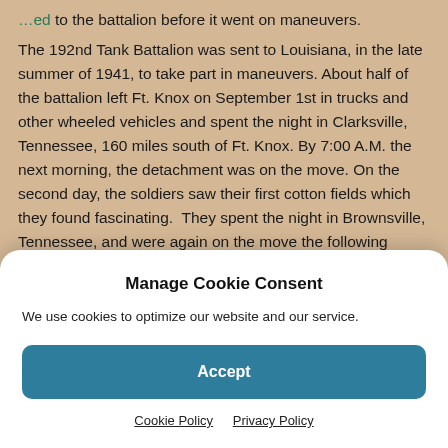…ed to the battalion before it went on maneuvers.
The 192nd Tank Battalion was sent to Louisiana, in the late summer of 1941, to take part in maneuvers. About half of the battalion left Ft. Knox on September 1st in trucks and other wheeled vehicles and spent the night in Clarksville, Tennessee, 160 miles south of Ft. Knox. By 7:00 A.M. the next morning, the detachment was on the move. On the second day, the soldiers saw their first cotton fields which they found fascinating.  They spent the night in Brownsville, Tennessee, and were again on the move the following morning at 7:00 A.M. At noon, the
Manage Cookie Consent
We use cookies to optimize our website and our service.
Accept
Cookie Policy  Privacy Policy